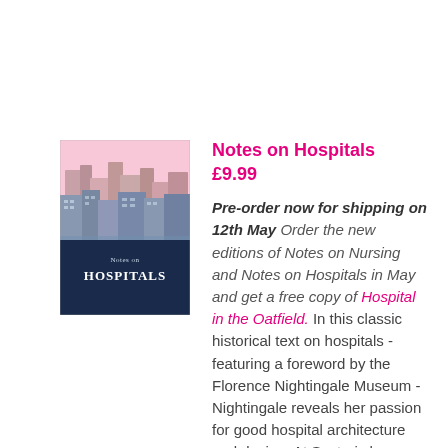[Figure (illustration): Book cover for 'Notes on Hospitals' showing a pink sky with illustrated buildings/skyline in the top half and a dark navy blue bottom section with 'Notes on HOSPITALS' text in white.]
Notes on Hospitals
£9.99
Pre-order now for shipping on 12th May Order the new editions of Notes on Nursing and Notes on Hospitals in May and get a free copy of Hospital in the Oatfield.  In this classic historical text on hospitals - featuring a foreword by the Florence Nightingale Museum - Nightingale reveals her passion for good hospital architecture and design. At Scutari she saw first hand the harm which can be